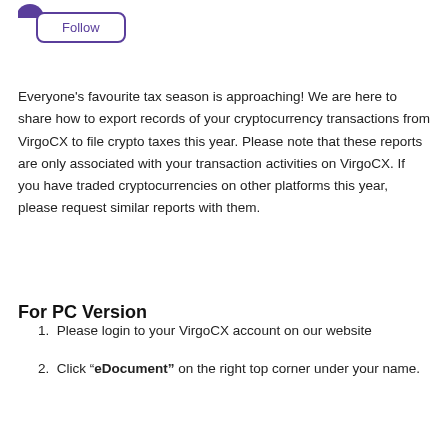[Figure (other): Purple circle icon (partial, top-cropped)]
Follow
Everyone's favourite tax season is approaching! We are here to share how to export records of your cryptocurrency transactions from VirgoCX to file crypto taxes this year. Please note that these reports are only associated with your transaction activities on VirgoCX. If you have traded cryptocurrencies on other platforms this year, please request similar reports with them.
For PC Version
Please login to your VirgoCX account on our website
Click "eDocument" on the right top corner under your name.